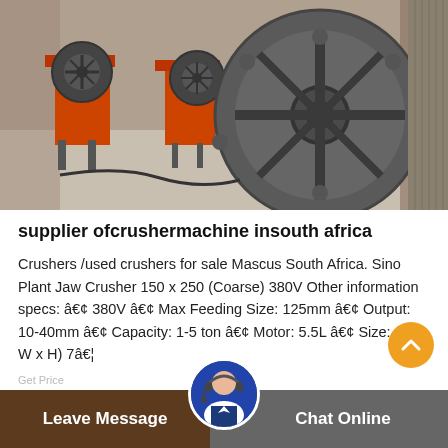[Figure (photo): Industrial jaw crusher machines in a warehouse/workshop. Large metal flywheel/pulley wheel prominently in foreground, orange crusher machines visible in background on concrete floor.]
supplier ofcrushermachine insouth africa
Crushers /used crushers for sale Mascus South Africa. Sino Plant Jaw Crusher 150 x 250 (Coarse) 380V Other information specs: â€¢ 380V â€¢ Max Feeding Size: 125mm â€¢ Output: 10-40mm â€¢ Capacity: 1-5 ton â€¢ Motor: 5.5L â€¢ Size: (L x W x H) 7â€¦